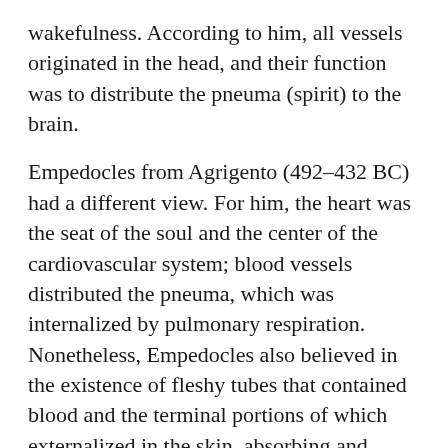wakefulness. According to him, all vessels originated in the head, and their function was to distribute the pneuma (spirit) to the brain.
Empedocles from Agrigento (492–432 BC) had a different view. For him, the heart was the seat of the soul and the center of the cardiovascular system; blood vessels distributed the pneuma, which was internalized by pulmonary respiration. Nonetheless, Empedocles also believed in the existence of fleshy tubes that contained blood and the terminal portions of which externalized in the skin, absorbing and expelling air.
The school of Kos, the main exponent of which was Hippocrates (460–375 BC), with regard to the cardiovascular system in the book On the Heart, reported for the first time the anatomical details of the heart, ascribing to the cardiovascular system the transportation of life throughout the body.